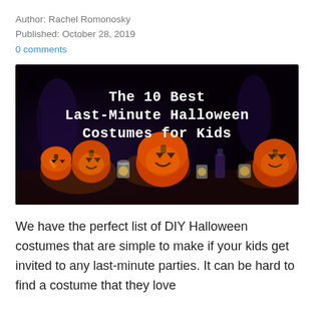Author: Rachel Romonosky
Published: October 28, 2019
0 comments
[Figure (photo): Halloween jack-o-lanterns and glowing candles in jars against a dark background, with white text overlay reading 'The 10 Best Last-Minute Halloween Costumes for Kids']
We have the perfect list of DIY Halloween costumes that are simple to make if your kids get invited to any last-minute parties. It can be hard to find a costume that they love